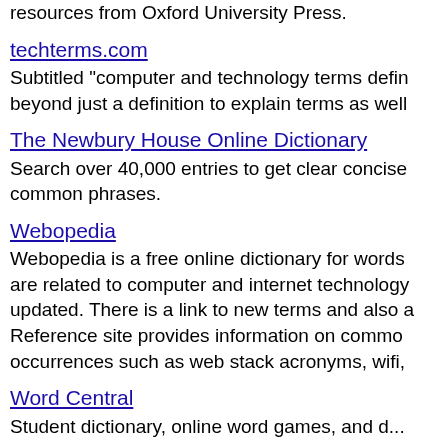resources from Oxford University Press.
techterms.com
Subtitled "computer and technology terms defin... beyond just a definition to explain terms as well
The Newbury House Online Dictionary
Search over 40,000 entries to get clear concise... common phrases.
Webopedia
Webopedia is a free online dictionary for words are related to computer and internet technology updated. There is a link to new terms and also a Reference site provides information on common occurrences such as web stack acronyms, wifi,
Word Central
Student dictionary, online word games, and d...